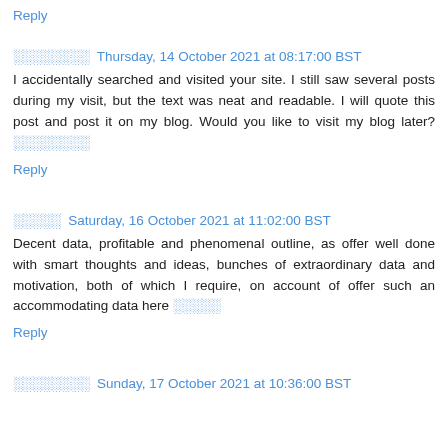Reply
░░░░░░░░  Thursday, 14 October 2021 at 08:17:00 BST
I accidentally searched and visited your site. I still saw several posts during my visit, but the text was neat and readable. I will quote this post and post it on my blog. Would you like to visit my blog later? ░░░░░░░░
Reply
░░░░░  Saturday, 16 October 2021 at 11:02:00 BST
Decent data, profitable and phenomenal outline, as offer well done with smart thoughts and ideas, bunches of extraordinary data and motivation, both of which I require, on account of offer such an accommodating data here ░░░░░
Reply
░░░░░░░░  Sunday, 17 October 2021 at 10:36:00 BST